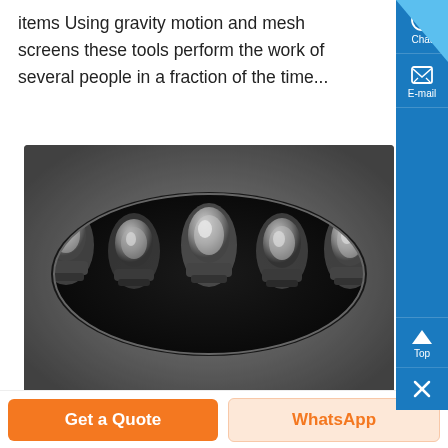items Using gravity motion and mesh screens these tools perform the work of several people in a fraction of the time...
[Figure (photo): Black and white close-up photograph of mechanical components — five bolt or valve-like metal parts arranged in a row inside an oval-shaped recess or housing.]
Chat
E-mail
Top
Get a Quote
WhatsApp